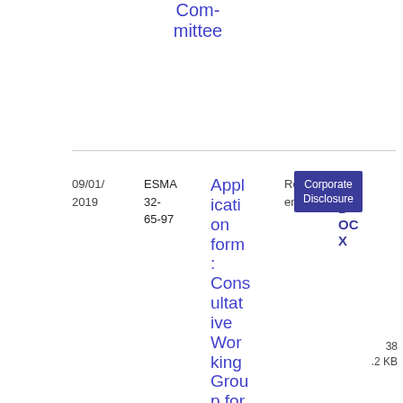Committee
| Date | Reference | Title | Tag | Type | File | Size |
| --- | --- | --- | --- | --- | --- | --- |
| 09/01/2019 | ESMA 32-65-97 | Application form: Consultative Working Group for ESMA's Corporate Rep... | Corporate Disclosure | Reference | DOCX | 38.2 KB |
[Figure (other): Download icon button (blue square with downward chevron arrow)]